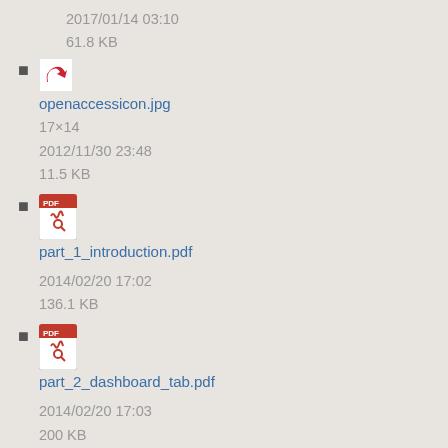2017/01/14 03:10
61.8 KB
openaccessicon.jpg
17×14
2012/11/30 23:48
11.5 KB
part_1_introduction.pdf
2014/02/20 17:02
136.1 KB
part_2_dashboard_tab.pdf
2014/02/20 17:03
200 KB